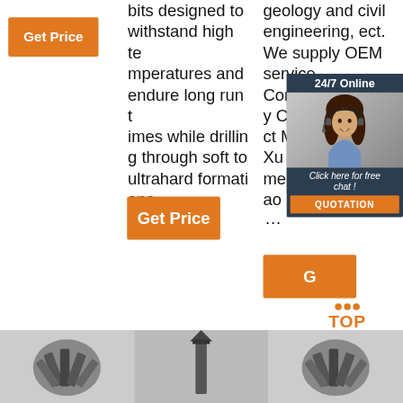[Figure (screenshot): Screenshot of a product/industrial website page showing drilling bits content with orange 'Get Price' buttons, a 24/7 online chat popup with a woman wearing a headset, text columns about drilling bits withstanding high temperatures, and product images of drilling bits at the bottom. Also shows a 'TOP' navigation icon.]